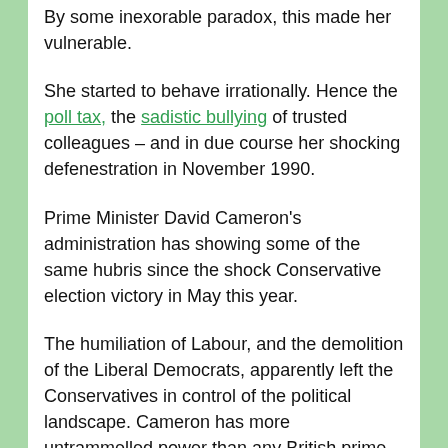By some inexorable paradox, this made her vulnerable.
She started to behave irrationally. Hence the poll tax, the sadistic bullying of trusted colleagues – and in due course her shocking defenestration in November 1990.
Prime Minister David Cameron's administration has showing some of the same hubris since the shock Conservative election victory in May this year.
The humiliation of Labour, and the demolition of the Liberal Democrats, apparently left the Conservatives in control of the political landscape. Cameron has more untrammelled power than any British prime minister in a generation.
Yet in recent weeks we have seen a succession of errors. In domestic terms by far the most important has been the implosion of Chancellor George Osborne's budget of last July.